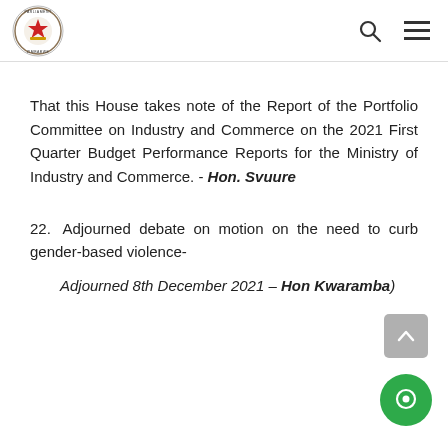Parliament of Zimbabwe logo with search and menu icons
That this House takes note of the Report of the Portfolio Committee on Industry and Commerce on the 2021 First Quarter Budget Performance Reports for the Ministry of Industry and Commerce. - Hon. Svuure
22. Adjourned debate on motion on the need to curb gender-based violence- Adjourned 8th December 2021 – Hon Kwaramba)